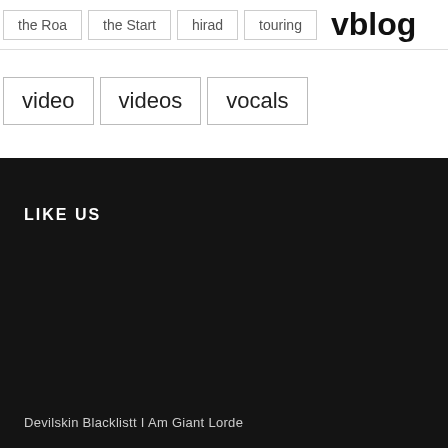the Roa   the Start   hirad   touring   vblog
video   videos   vocals
LIKE US
Devilskin Blacklistt I Am Giant Lorde